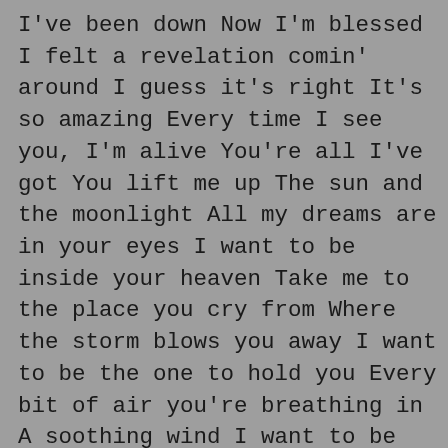I've been down Now I'm blessed I felt a revelation comin' around I guess it's right It's so amazing Every time I see you, I'm alive You're all I've got You lift me up The sun and the moonlight All my dreams are in your eyes I want to be inside your heaven Take me to the place you cry from Where the storm blows you away I want to be the one to hold you Every bit of air you're breathing in A soothing wind I want to be inside your heaven When minutes turn to days and years If mountains form I'll still be here Holding you until the day I die I want to be inside your heaven Take me to the place you cry from Where the storm blows you away I want to be inside your heaven Take me to the place you cry from Where the storm blows you away